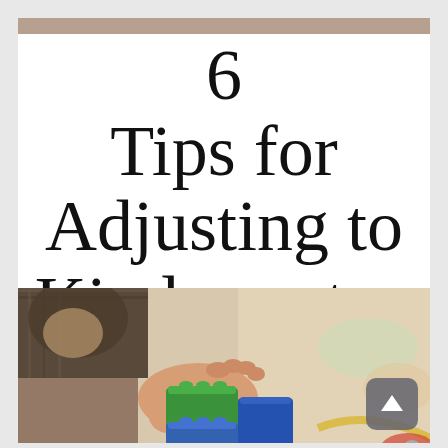6 Tips for Adjusting to Kindergarten
[Figure (photo): Close-up photo of a young child's hands playing with colorful building blocks (Lego-style), wearing a plaid shirt, with a blurred background]